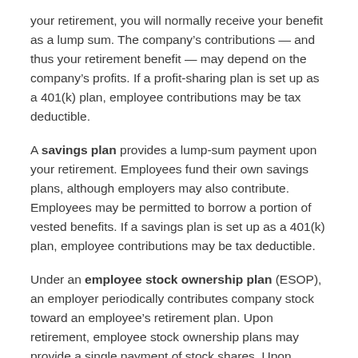your retirement, you will normally receive your benefit as a lump sum. The company's contributions — and thus your retirement benefit — may depend on the company's profits. If a profit-sharing plan is set up as a 401(k) plan, employee contributions may be tax deductible.
A savings plan provides a lump-sum payment upon your retirement. Employees fund their own savings plans, although employers may also contribute. Employees may be permitted to borrow a portion of vested benefits. If a savings plan is set up as a 401(k) plan, employee contributions may be tax deductible.
Under an employee stock ownership plan (ESOP), an employer periodically contributes company stock toward an employee's retirement plan. Upon retirement, employee stock ownership plans may provide a single payment of stock shares. Upon reaching age 55, with 10 or more years of plan participation, you must be given the option of